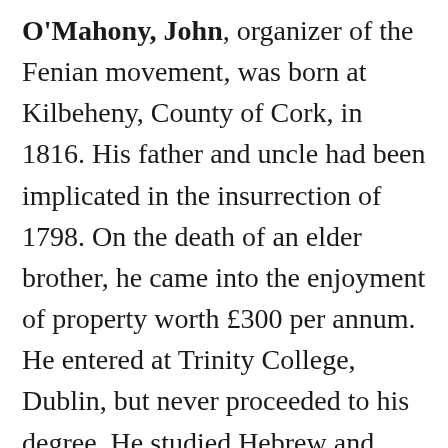O'Mahony, John, organizer of the Fenian movement, was born at Kilbeheny, County of Cork, in 1816. His father and uncle had been implicated in the insurrection of 1798. On the death of an elder brother, he came into the enjoyment of property worth £300 per annum. He entered at Trinity College, Dublin, but never proceeded to his degree. He studied Hebrew and Sanscrit, became an accomplished Gaelic scholar, and was in after life able to teach Greek and Latin, and to contribute articles to French newspapers. In 1843 he became interested in the Repeal movement. He attached himself to the Young Ireland party, and was one of those who took the